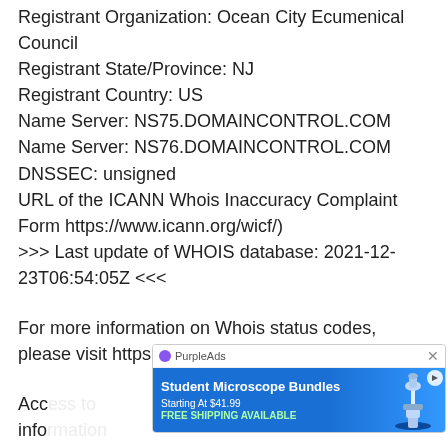Registrant Organization: Ocean City Ecumenical Council
Registrant State/Province: NJ
Registrant Country: US
Name Server: NS75.DOMAINCONTROL.COM
Name Server: NS76.DOMAINCONTROL.COM
DNSSEC: unsigned
URL of the ICANN Whois Inaccuracy Complaint Form https://www.icann.org/wicf/)
>>> Last update of WHOIS database: 2021-12-23T06:54:05Z <<<
For more information on Whois status codes, please visit https://icann.org/epp
Accreditation information dete registration record in the Public Interest Registry
[Figure (other): PurpleAds advertisement banner for Student Microscope Bundles, Starting At $41.99, FREE SHIPPING AVAILABLE, with a microscope image on a blue background.]